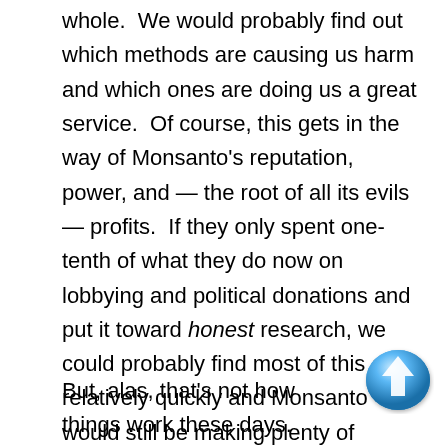whole.  We would probably find out which methods are causing us harm and which ones are doing us a great service.  Of course, this gets in the way of Monsanto's reputation, power, and — the root of all its evils — profits.  If they only spent one-tenth of what they do now on lobbying and political donations and put it toward honest research, we could probably find most of this out relatively quickly and Monsanto would still be making plenty of money to satisfy its board and stockholders.
But, alas, that's not how things work these days.  Nobody can ever slow down to make sure everything
[Figure (illustration): A blue glossy upward-pointing arrow button icon in the lower right area of the page]